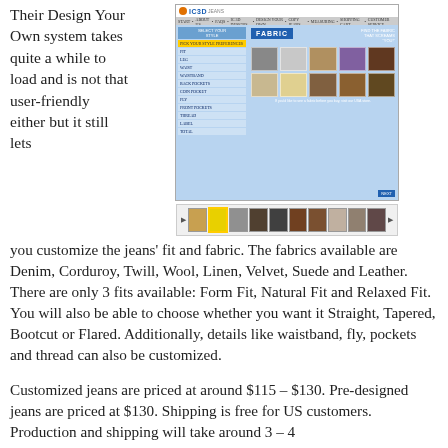Their Design Your Own system takes quite a while to load and is not that user-friendly either but it still lets you customize the jeans' fit and fabric. The fabrics available are Denim, Corduroy, Twill, Wool, Linen, Velvet, Suede and Leather. There are only 3 fits available: Form Fit, Natural Fit and Relaxed Fit. You will also be able to choose whether you want it Straight, Tapered, Bootcut or Flared. Additionally, details like waistband, fly, pockets and thread can also be customized.
[Figure (screenshot): Screenshot of IC3D Jeans website showing the Design Your Own fabric selection interface with fabric swatches and thumbnail navigation strip]
Customized jeans are priced at around $115 – $130. Pre-designed jeans are priced at $130. Shipping is free for US customers. Production and shipping will take around 3 – 4